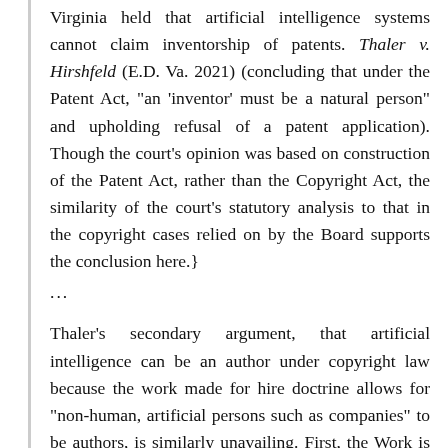Virginia held that artificial intelligence systems cannot claim inventorship of patents. Thaler v. Hirshfeld (E.D. Va. 2021) (concluding that under the Patent Act, "an 'inventor' must be a natural person" and upholding refusal of a patent application). Though the court's opinion was based on construction of the Patent Act, rather than the Copyright Act, the similarity of the court's statutory analysis to that in the copyright cases relied on by the Board supports the conclusion here.}
...
Thaler's secondary argument, that artificial intelligence can be an author under copyright law because the work made for hire doctrine allows for "non-human, artificial persons such as companies" to be authors, is similarly unavailing. First, the Work is clearly not a work made for hire as defined in the Copyright Act. A work made for hire must be either (A) prepared by "an employee"